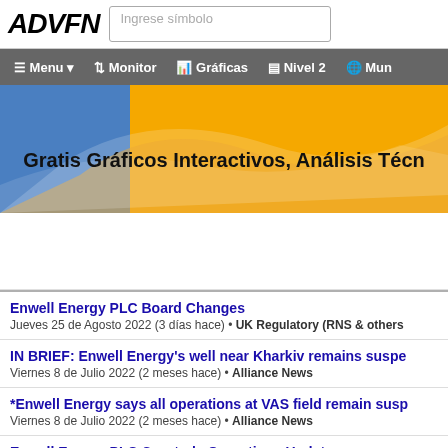[Figure (logo): ADVFN logo with search box]
Menu | Monitor | Gráficas | Nivel 2 | Mun
[Figure (illustration): Banner: Gratis Gráficos Interactivos, Análisis Técn...]
(ad space)
Enwell Energy PLC Board Changes
Jueves 25 de Agosto 2022 (3 días hace) • UK Regulatory (RNS & others
IN BRIEF: Enwell Energy's well near Kharkiv remains suspe...
Viernes 8 de Julio 2022 (2 meses hace) • Alliance News
*Enwell Energy says all operations at VAS field remain susp...
Viernes 8 de Julio 2022 (2 meses hace) • Alliance News
Enwell Energy PLC Quarterly Operations Update